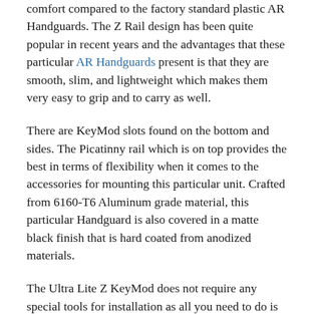comfort compared to the factory standard plastic AR Handguards. The Z Rail design has been quite popular in recent years and the advantages that these particular AR Handguards present is that they are smooth, slim, and lightweight which makes them very easy to grip and to carry as well.
There are KeyMod slots found on the bottom and sides. The Picatinny rail which is on top provides the best in terms of flexibility when it comes to the accessories for mounting this particular unit. Crafted from 6160-T6 Aluminum grade material, this particular Handguard is also covered in a matte black finish that is hard coated from anodized materials.
The Ultra Lite Z KeyMod does not require any special tools for installation as all you need to do is remove the factory plastic Handguards from your weapon and replace them with this product. The separate halves of the KeyMod will tighten into place using the four screws that are included. Plus, there is also a ladder rail cover that is included with the kit as well to protect the top rail from any damage that